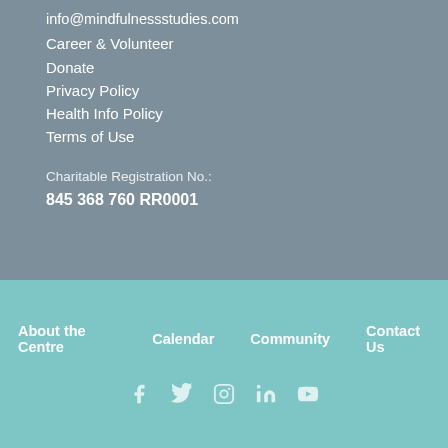info@mindfulnessstudies.com
Career & Volunteer
Donate
Privacy Policy
Health Info Policy
Terms of Use
Charitable Registration No.:
845 368 760 RR0001
About the Centre  Calendar  Community  Contact Us
[Figure (other): Social media icons: Facebook, Twitter, Instagram, LinkedIn, YouTube]